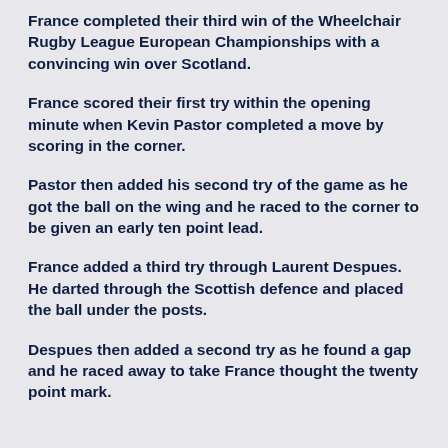France completed their third win of the Wheelchair Rugby League European Championships with a convincing win over Scotland.
France scored their first try within the opening minute when Kevin Pastor completed a move by scoring in the corner.
Pastor then added his second try of the game as he got the ball on the wing and he raced to the corner to be given an early ten point lead.
France added a third try through Laurent Despues. He darted through the Scottish defence and placed the ball under the posts.
Despues then added a second try as he found a gap and he raced away to take France thought the twenty point mark.